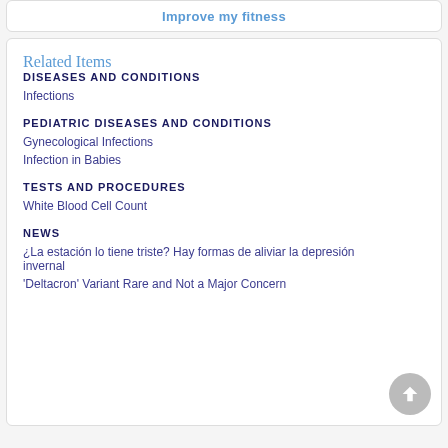Improve my fitness
Related Items
DISEASES AND CONDITIONS
Infections
PEDIATRIC DISEASES AND CONDITIONS
Gynecological Infections
Infection in Babies
TESTS AND PROCEDURES
White Blood Cell Count
NEWS
¿La estación lo tiene triste? Hay formas de aliviar la depresión invernal
'Deltacron' Variant Rare and Not a Major Concern